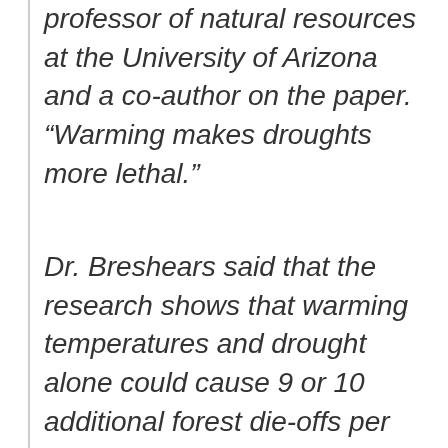professor of natural resources at the University of Arizona and a co-author on the paper. “Warming makes droughts more lethal.”
Dr. Breshears said that the research shows that warming temperatures and drought alone could cause 9 or 10 additional forest die-offs per century during this century by killing seedlings. “It’s not sustainable if you knock out a forest every ten or twelve years,” Dr. Breshears said. “We